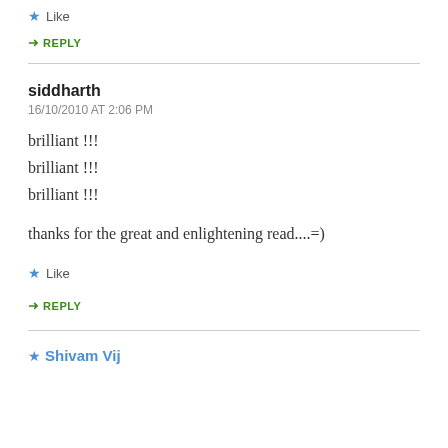Like
REPLY
siddharth
16/10/2010 AT 2:06 PM
brilliant !!!
brilliant !!!
brilliant !!!
thanks for the great and enlightening read....=)
Like
REPLY
Shivam Vij